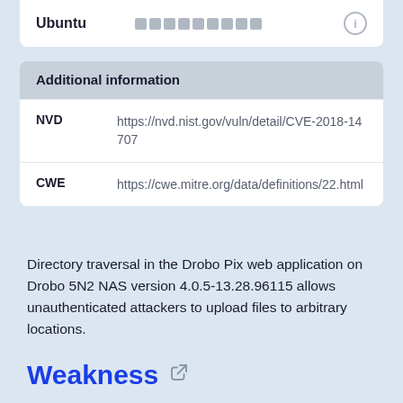Ubuntu
|  |  |
| --- | --- |
| NVD | https://nvd.nist.gov/vuln/detail/CVE-2018-14707 |
| CWE | https://cwe.mitre.org/data/definitions/22.html |
Directory traversal in the Drobo Pix web application on Drobo 5N2 NAS version 4.0.5-13.28.96115 allows unauthenticated attackers to upload files to arbitrary locations.
Weakness